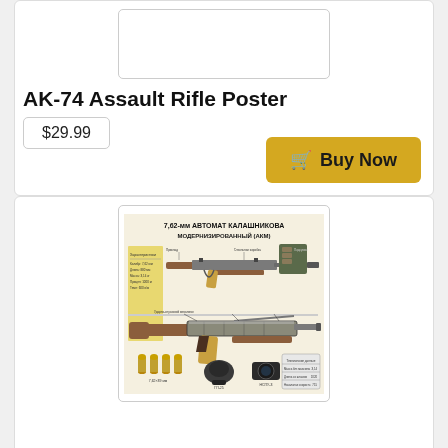[Figure (photo): Product image placeholder for AK-74 Assault Rifle Poster (top card, partially visible)]
AK-74 Assault Rifle Poster
$29.99
Buy Now
[Figure (illustration): AKM (7.62mm Avtomat Kalashnikova Modernizirovanny) rifle technical poster in Russian, showing exploded/labeled diagram of the AKM assault rifle with parts, ammunition, and accessories]